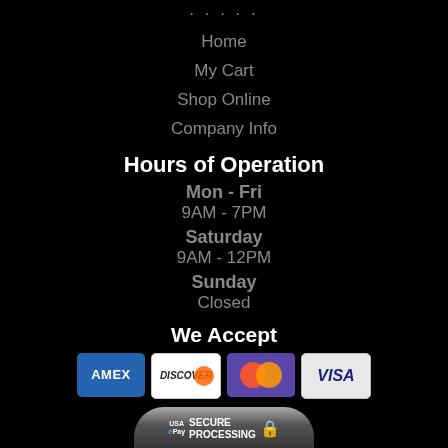SITE INFO
Home
My Cart
Shop Online
Company Info
Hours of Operation
Mon - Fri
9AM - 7PM
Saturday
9AM - 12PM
Sunday
Closed
We Accept
[Figure (other): Payment card logos: AMEX, Discover, Mastercard, Visa]
[Figure (other): USA ePay Secure Processing banner with lock icon]